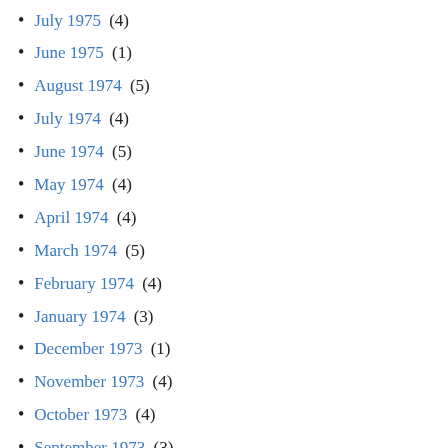July 1975 (4)
June 1975 (1)
August 1974 (5)
July 1974 (4)
June 1974 (5)
May 1974 (4)
April 1974 (4)
March 1974 (5)
February 1974 (4)
January 1974 (3)
December 1973 (1)
November 1973 (4)
October 1973 (4)
September 1973 (3)
August 1973 (2)
July 1973 (3)